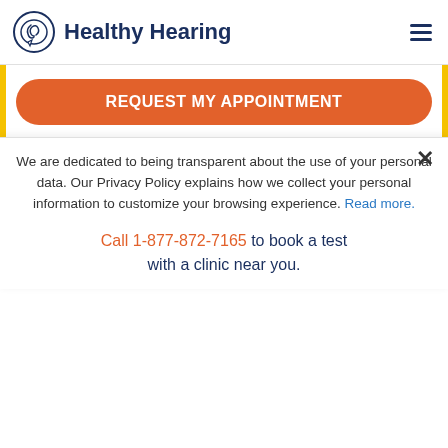Healthy Hearing
REQUEST MY APPOINTMENT
View clinic details
Jennifer Occhiuto, AuD, CCC-A
Audiologist
We are dedicated to being transparent about the use of your personal data. Our Privacy Policy explains how we collect your personal information to customize your browsing experience. Read more.
Call 1-877-872-7165 to book a test with a clinic near you.